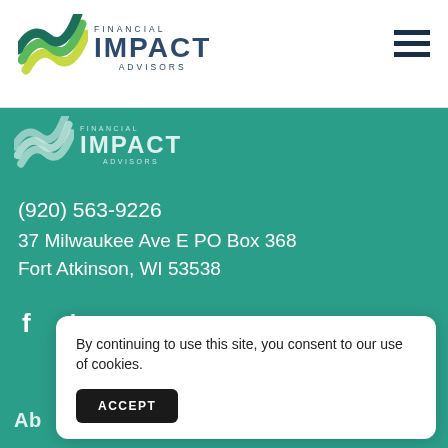[Figure (logo): Financial Impact Advisors logo — stylized green/teal wave mark with company name in dark navy]
[Figure (logo): Financial Impact Advisors logo on green/teal background — lighter translucent version]
(920) 563-9226
37 Milwaukee Ave E PO Box 368
Fort Atkinson, WI 53538
[Figure (infographic): Facebook and LinkedIn social media icons in white]
Ab
W
By continuing to use this site, you consent to our use of cookies.
ACCEPT